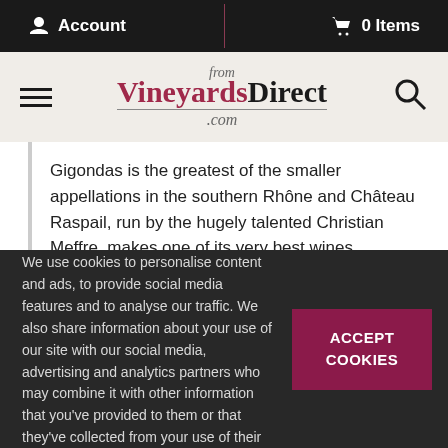Account  0 Items
[Figure (logo): fromVineyardsDirect.com logo with hamburger menu and search icon]
Gigondas is the greatest of the smaller appellations in the southern Rhône and Château Raspail, run by the hugely talented Christian Meffre, makes one of its very best wines. Predominantly grenache, syrah and
This website uses cookies
We use cookies to personalise content and ads, to provide social media features and to analyse our traffic. We also share information about your use of our site with our social media, advertising and analytics partners who may combine it with other information that you've provided to them or that they've collected from your use of their services.